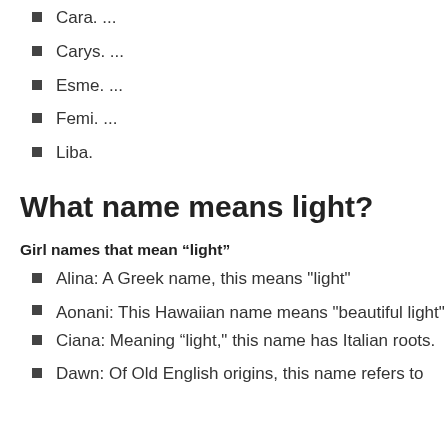Cara. ...
Carys. ...
Esme. ...
Femi. ...
Liba.
What name means light?
Girl names that mean “light”
Alina: A Greek name, this means "light"
Aonani: This Hawaiian name means "beautiful light"
Ciana: Meaning “light,” this name has Italian roots.
Dawn: Of Old English origins, this name refers to